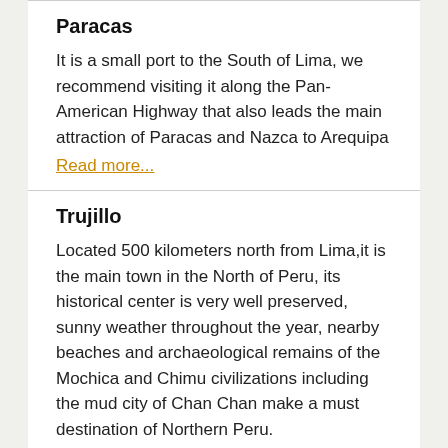Paracas
It is a small port to the South of Lima, we recommend visiting it along the Pan-American Highway that also leads the main attraction of Paracas and Nazca to Arequipa
Read more...
Trujillo
Located 500 kilometers north from Lima,it is the main town in the North of Peru, its historical center is very well preserved, sunny weather throughout the year, nearby beaches and archaeological remains of the Mochica and Chimu civilizations including the mud city of Chan Chan make a must destination of Northern Peru.
Read more...
Puerto Maldonado
It is a small village located near the border with Brazil in the Amazon plain, the best way to get is by flight from Cuzco or Lima.